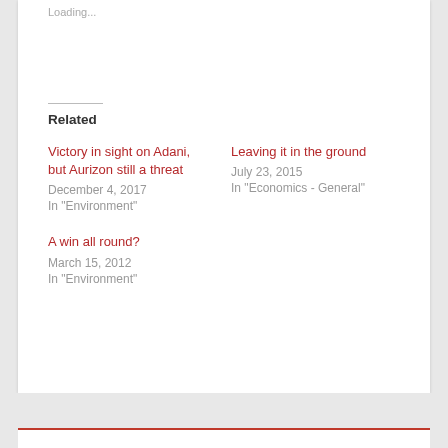Loading...
Related
Victory in sight on Adani, but Aurizon still a threat
December 4, 2017
In "Environment"
Leaving it in the ground
July 23, 2015
In "Economics - General"
A win all round?
March 15, 2012
In "Environment"